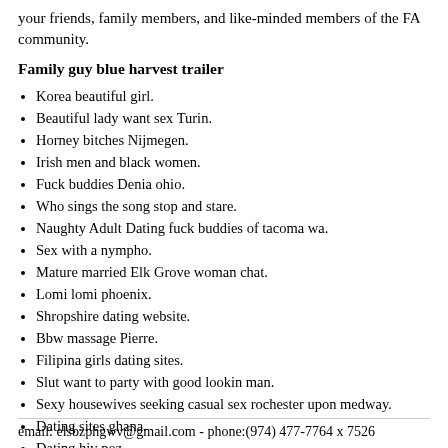your friends, family members, and like-minded members of the FA community.
Family guy blue harvest trailer
Korea beautiful girl.
Beautiful lady want sex Turin.
Horney bitches Nijmegen.
Irish men and black women.
Fuck buddies Denia ohio.
Who sings the song stop and stare.
Naughty Adult Dating fuck buddies of tacoma wa.
Sex with a nympho.
Mature married Elk Grove woman chat.
Lomi lomi phoenix.
Shropshire dating website.
Bbw massage Pierre.
Filipina girls dating sites.
Slut want to party with good lookin man.
Sexy housewives seeking casual sex rochester upon medway.
Dating sites ghana.
Dating hiv poz.
email: elsbzphgwv@gmail.com - phone:(974) 477-7764 x 7526